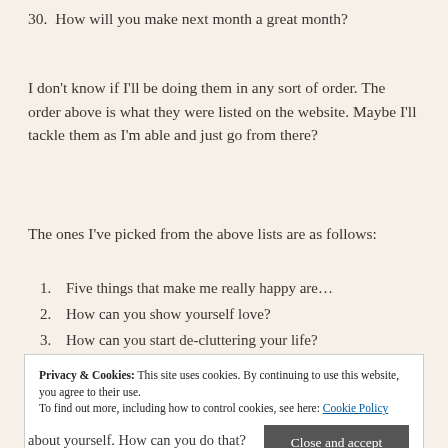30. How will you make next month a great month?
I don't know if I'll be doing them in any sort of order. The order above is what they were listed on the website. Maybe I'll tackle them as I'm able and just go from there?
The ones I've picked from the above lists are as follows:
1. Five things that make me really happy are…
2. How can you show yourself love?
3. How can you start de-cluttering your life?
Privacy & Cookies: This site uses cookies. By continuing to use this website, you agree to their use.
To find out more, including how to control cookies, see here: Cookie Policy
about yourself. How can you do that?